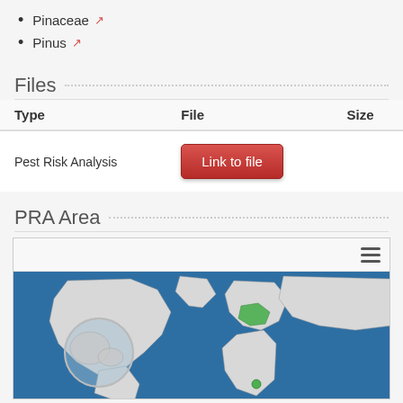Pinaceae
Pinus
Files
| Type | File | Size |
| --- | --- | --- |
| Pest Risk Analysis | Link to file |  |
PRA Area
[Figure (map): World map showing PRA area with highlighted regions in green, blue ocean background and grey landmasses. A magnified circular inset is visible on the left side.]